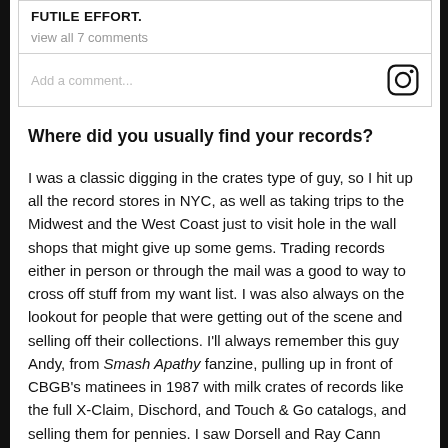FUTILE EFFORT.
view all 7 comments
Add a comment...
Where did you usually find your records?
I was a classic digging in the crates type of guy, so I hit up all the record stores in NYC, as well as taking trips to the Midwest and the West Coast just to visit hole in the wall shops that might give up some gems. Trading records either in person or through the mail was a good to way to cross off stuff from my want list. I was also always on the lookout for people that were getting out of the scene and selling off their collections. I'll always remember this guy Andy, from Smash Apathy fanzine, pulling up in front of CBGB's matinees in 1987 with milk crates of records like the full X-Claim, Dischord, and Touch & Go catalogs, and selling them for pennies. I saw Dorsell and Ray Cann